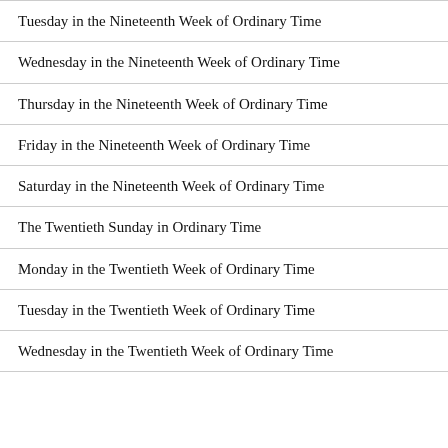Tuesday in the Nineteenth Week of Ordinary Time
Wednesday in the Nineteenth Week of Ordinary Time
Thursday in the Nineteenth Week of Ordinary Time
Friday in the Nineteenth Week of Ordinary Time
Saturday in the Nineteenth Week of Ordinary Time
The Twentieth Sunday in Ordinary Time
Monday in the Twentieth Week of Ordinary Time
Tuesday in the Twentieth Week of Ordinary Time
Wednesday in the Twentieth Week of Ordinary Time